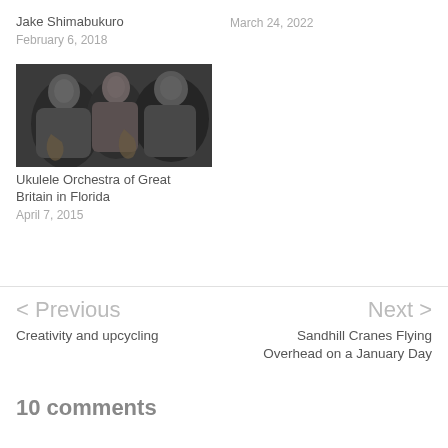Jake Shimabukuro
February 6, 2018
March 24, 2022
[Figure (photo): Black and white photo of three musicians playing ukuleles]
Ukulele Orchestra of Great Britain in Florida
April 7, 2015
< Previous
Creativity and upcycling
Next >
Sandhill Cranes Flying Overhead on a January Day
10 comments